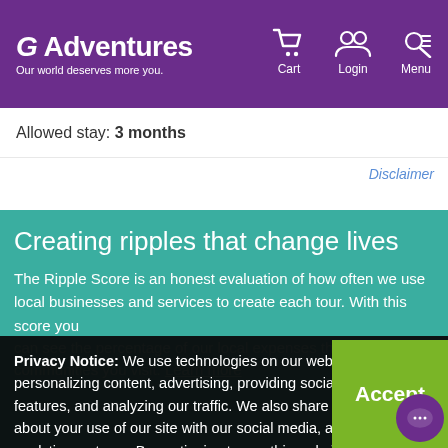G Adventures — Our world deserves more you. | Cart | Login | Menu
Allowed stay: 3 months
Disclaimer
Creating ripples that change lives
The Ripple Score is an honest evaluation of how often we use local businesses and services to create each tour. With this score you can see the percentage of our local expenses that stay in the communities you visit. Learn more
Privacy Notice: We use technologies on our website for personalizing content, advertising, providing social media features, and analyzing our traffic. We also share information about your use of our site with our social media, advertising and analytics partners. By continuing to use this website, you consent to our use of this technology. You can control this through your Privacy Options.